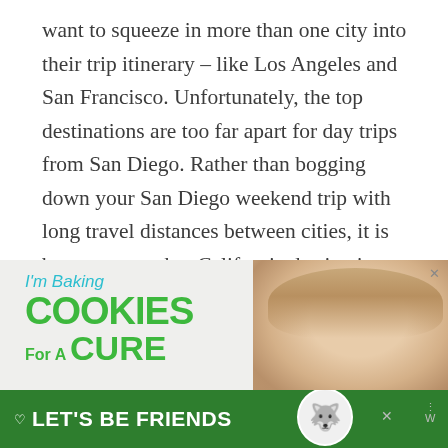want to squeeze in more than one city into their trip itinerary – like Los Angeles and San Francisco. Unfortunately, the top destinations are too far apart for day trips from San Diego. Rather than bogging down your San Diego weekend trip with long travel distances between cities, it is best to save other California destinations for another (or a longer) trip.
[Figure (other): Advertisement banner: 'I'm Baking COOKIES For A CURE' with image of a smiling girl with blonde hair, and a green bottom bar with 'LET'S BE FRIENDS' text and a husky dog icon]